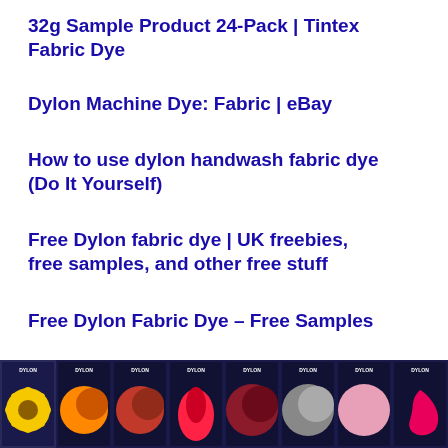32g Sample Product 24-Pack | Tintex Fabric Dye
Dylon Machine Dye: Fabric | eBay
How to use dylon handwash fabric dye (Do It Yourself)
Free Dylon fabric dye | UK freebies, free samples, and other free stuff
Free Dylon Fabric Dye – Free Samples
Free Dylon Fabric Dye | YourFreebieStyle
[Figure (photo): Row of 8 Dylon fabric dye product boxes showing various colors including Sunflower Yellow, Golden Orange, Terracotta, Tulip Red, Bordeaux, Burlesque, Powder Pink, and Flamingo Pink]